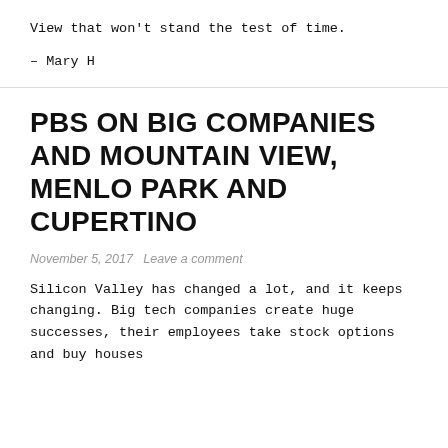View that won't stand the test of time.
– Mary H
PBS ON BIG COMPANIES AND MOUNTAIN VIEW, MENLO PARK AND CUPERTINO
November 5, 2017   Leave a comment
Silicon Valley has changed a lot, and it keeps changing. Big tech companies create huge successes, their employees take stock options and buy houses